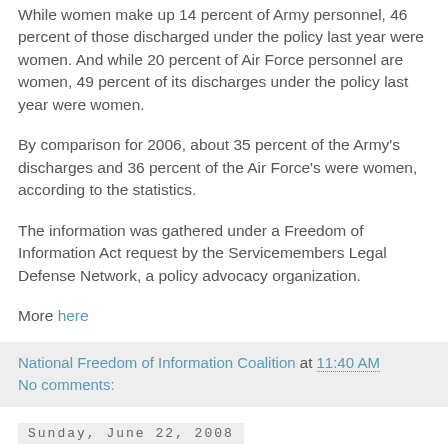While women make up 14 percent of Army personnel, 46 percent of those discharged under the policy last year were women. And while 20 percent of Air Force personnel are women, 49 percent of its discharges under the policy last year were women.
By comparison for 2006, about 35 percent of the Army's discharges and 36 percent of the Air Force's were women, according to the statistics.
The information was gathered under a Freedom of Information Act request by the Servicemembers Legal Defense Network, a policy advocacy organization.
More here
National Freedom of Information Coalition at 11:40 AM
No comments:
Sunday, June 22, 2008
Rhode Island Reforms Pass